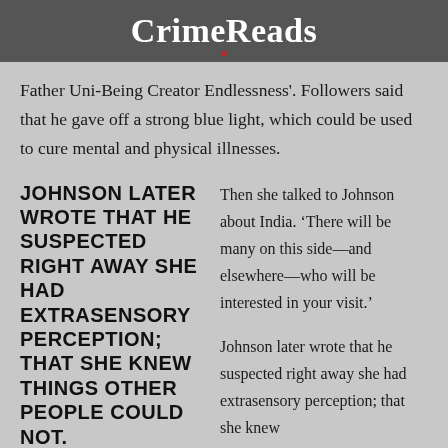CrimeReads
Father Uni-Being Creator Endlessness'. Followers said that he gave off a strong blue light, which could be used to cure mental and physical illnesses.
JOHNSON LATER WROTE THAT HE SUSPECTED RIGHT AWAY SHE HAD EXTRASENSORY PERCEPTION; THAT SHE KNEW THINGS OTHER PEOPLE COULD NOT.
Then she talked to Johnson about India. ‘There will be many on this side—and elsewhere—who will be interested in your visit.’
Johnson later wrote that he suspected right away she had extrasensory perception; that she knew